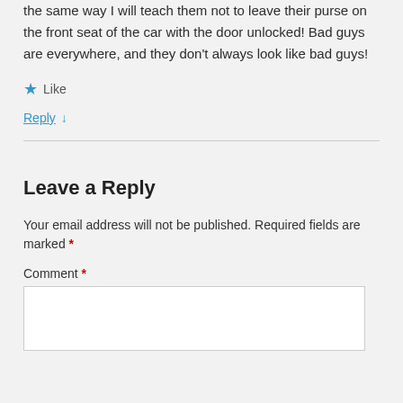the same way I will teach them not to leave their purse on the front seat of the car with the door unlocked! Bad guys are everywhere, and they don't always look like bad guys!
★ Like
Reply ↓
Leave a Reply
Your email address will not be published. Required fields are marked *
Comment *